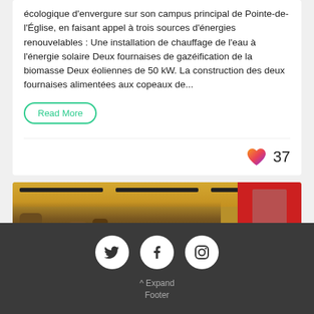écologique d'envergure sur son campus principal de Pointe-de-l'Église, en faisant appel à trois sources d'énergies renouvelables : Une installation de chauffage de l'eau à l'énergie solaire Deux fournaises de gazéification de la biomasse Deux éoliennes de 50 kW. La construction des deux fournaises alimentées aux copeaux de...
Read More
37
[Figure (photo): Group photo of people in a room with warm yellow ceiling lighting and a red panel on the right side]
Expand Footer